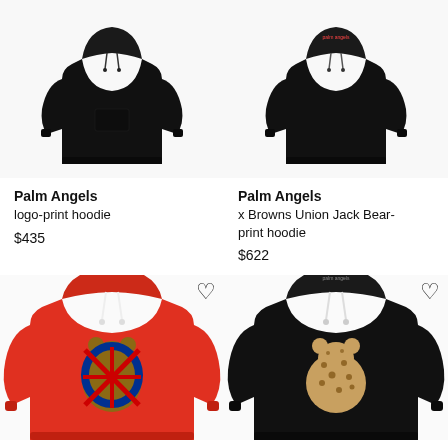[Figure (photo): Black Palm Angels logo-print hoodie, front view on white background]
[Figure (photo): Black Palm Angels x Browns Union Jack Bear-print hoodie, front view on white background]
Palm Angels
logo-print hoodie

$435
Palm Angels
x Browns Union Jack Bear-print hoodie

$622
[Figure (photo): Red Palm Angels hoodie with Union Jack bear graphic, partially cropped, with heart icon]
[Figure (photo): Black Palm Angels hoodie with leopard bear graphic, partially cropped, with heart icon]